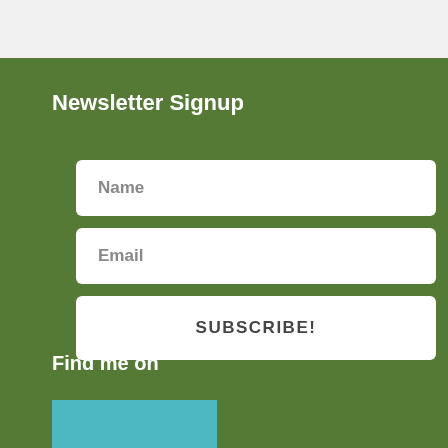Newsletter Signup
Name
Email
SUBSCRIBE!
Find me on
[Figure (other): Teal colored social media button block, partially visible]